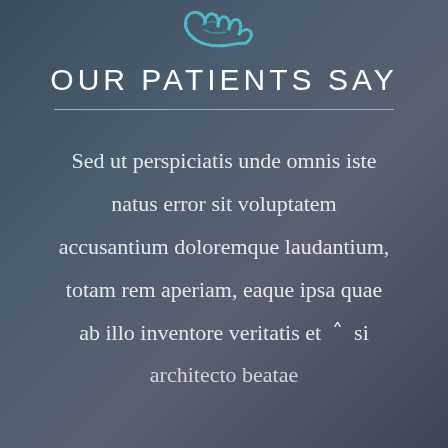[Figure (logo): Teal/cyan stylized icon resembling hands or a medical logo at the top center]
OUR PATIENTS SAY
Sed ut perspiciatis unde omnis iste natus error sit voluptatem accusantium doloremque laudantium, totam rem aperiam, eaque ipsa quae ab illo inventore veritatis et si architecto beatae